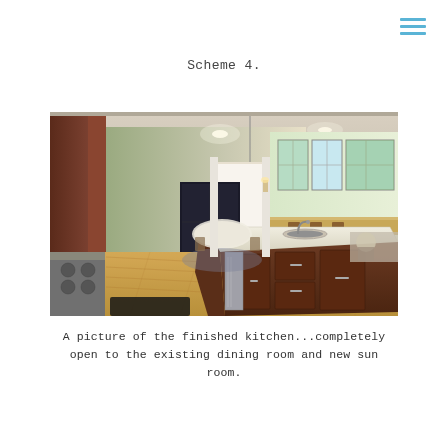≡ (menu icon)
Scheme 4.
[Figure (photo): Interior photo of a finished kitchen with a large island featuring a white countertop and sink, dark wood cabinets, hardwood floors, recessed lighting, open to a dining room with a chandelier and a sunroom with multiple windows in the background.]
A picture of the finished kitchen...completely open to the existing dining room and new sun room.